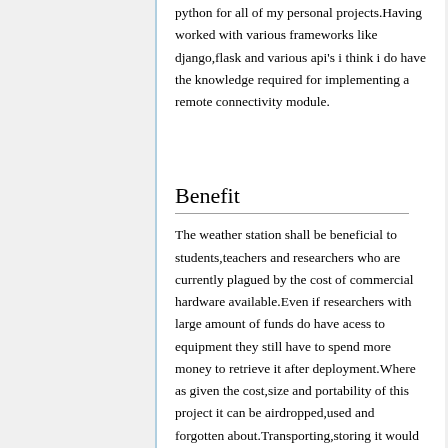python for all of my personal projects.Having worked with various frameworks like django,flask and various api's i think i do have the knowledge required for implementing a remote connectivity module.
Benefit
The weather station shall be beneficial to students,teachers and researchers who are currently plagued by the cost of commercial hardware available.Even if researchers with large amount of funds do have acess to equipment they still have to spend more money to retrieve it after deployment.Where as given the cost,size and portability of this project it can be airdropped,used and forgotten about.Transporting,storing it would be